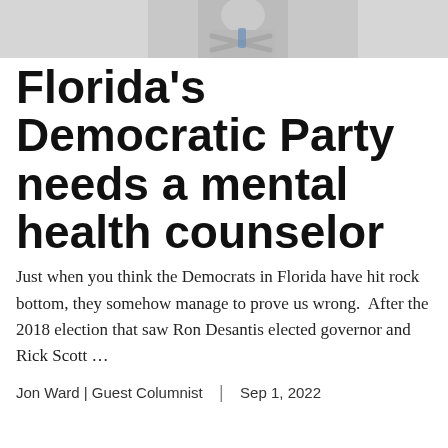[Figure (photo): Partial photo of a person in a white coat with arms crossed, shown from roughly chest up against a light background]
Florida's Democratic Party needs a mental health counselor
Just when you think the Democrats in Florida have hit rock bottom, they somehow manage to prove us wrong.  After the 2018 election that saw Ron Desantis elected governor and Rick Scott …
Jon Ward | Guest Columnist  |  Sep 1, 2022